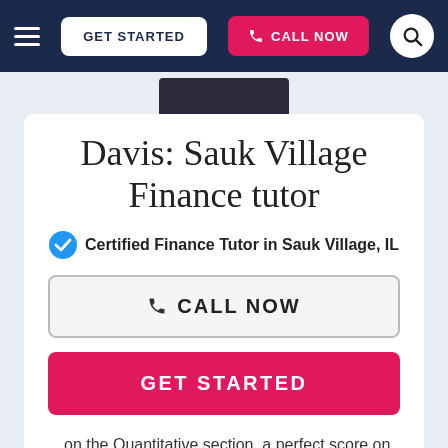GET STARTED | CALL NOW
Davis: Sauk Village Finance tutor
Certified Finance Tutor in Sauk Village, IL
CALL NOW
GET STARTED
…on the Quantitative section, a perfect score on the Integrated Reasoning and Analytical Writing Assessment, and a